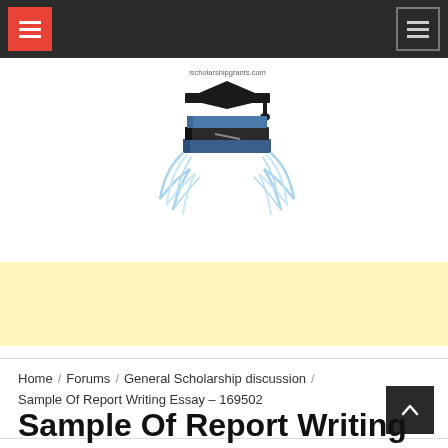Navigation bar with hamburger menu icons
[Figure (logo): ischolarshipgrants.com logo with graduation cap and stack of books with decorative quill/ribbon elements]
[Figure (other): Yellow advertisement banner]
Home / Forums / General Scholarship discussion / Sample Of Report Writing Essay – 169502
Sample Of Report Writing